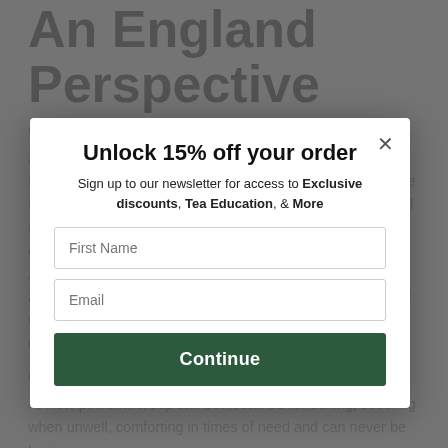An England Perspective
Q: What's your background in the tea industry?
A: My background has mainly been a personal one. Being British, I always drank tea but it was only when I came to the US in 2015 that I realized exactly how much. I slowly moved away from drinking tea with milk as dairy products tasted different to me, and explored more into different blends. American friends would ask me to go to afternoon tea or advise on different types which led me to The Tea Rose and wanting to share my knowledge and enjoy the tea tasting experience with others.
Q: What do you appreciate about tea?
A: How powerful a cup can be. It can be refreshing, soothing when unwell, comforting in times of need and can never be boring.
[Figure (screenshot): Modal popup overlay with newsletter sign-up form. Title: 'Unlock 15% off your order'. Subtitle: 'Sign up to our newsletter for access to Exclusive discounts, Tea Education, & More'. Fields: First Name, Email. Button: Continue (dark green). Close X top right.]